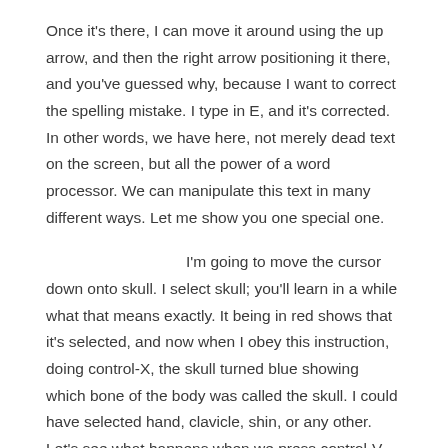Once it's there, I can move it around using the up arrow, and then the right arrow positioning it there, and you've guessed why, because I want to correct the spelling mistake. I type in E, and it's corrected. In other words, we have here, not merely dead text on the screen, but all the power of a word processor. We can manipulate this text in many different ways. Let me show you one special one.
I'm going to move the cursor down onto skull. I select skull; you'll learn in a while what that means exactly. It being in red shows that it's selected, and now when I obey this instruction, doing control-X, the skull turned blue showing which bone of the body was called the skull. I could have selected hand, clavicle, shin, or any other. Let's see what happens when we press control-V. Control-V is going to get us into a database in which the young programmer has written some more text that tells us about the skull. The skull, he said, has several bones. It protects the brain. Surprisingly, Hamlet once recognized one, and so on. Of